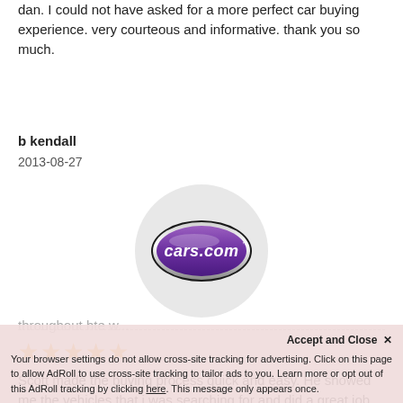dan. I could not have asked for a more perfect car buying experience. very courteous and informative. thank you so much.
b kendall
2013-08-27
[Figure (logo): cars.com logo — purple oval badge with white italic text 'cars.com' inside a circular grey background]
★★★★★
Scott made the buying process quick and easy. He showed me the vehicles that i was searching for and did a great job throughout hte w...
Accept and Close ✕
Your browser settings do not allow cross-site tracking for advertising. Click on this page to allow AdRoll to use cross-site tracking to tailor ads to you. Learn more or opt out of this AdRoll tracking by clicking here. This message only appears once.